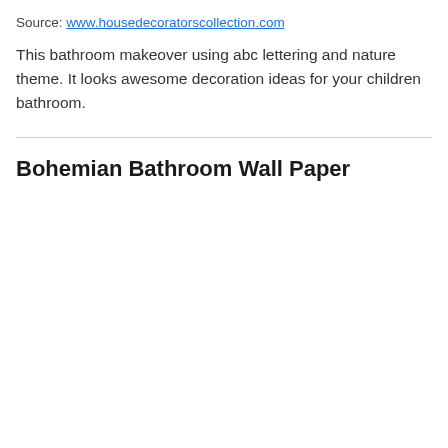Source: www.housedecorators collection.com
This bathroom makeover using abc lettering and nature theme. It looks awesome decoration ideas for your children bathroom.
Bohemian Bathroom Wall Paper